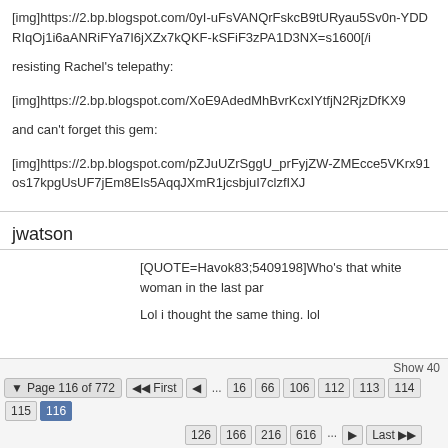[img]https://2.bp.blogspot.com/0yI-uFsVANQrFskcB9tURyau5Sv0n-YDDRIqOj1i6aANRiFYa7I6jXZx7kQKF-kSFiF3zPA1D3NX=s1600[/i
resisting Rachel's telepathy:
[img]https://2.bp.blogspot.com/XoE9AdedMhBvrKcxIYtfjN2RjzDfKX9
and can't forget this gem:
[img]https://2.bp.blogspot.com/pZJuUZrSggU_prFyjZW-ZMEcce5VKrx91os17kpgUsUF7jEm8EIs5AqqJXmR1jcsbjuI7clzfIXJ
jwatson
[QUOTE=Havok83;5409198]Who's that white woman in the last par
Lol i thought the same thing. lol
Show 40  ◀ Page 116 of 772  ◀◀ First  ◀  ...  16  66  106  112  113  114  115  126  166  216  616  ...  ▶  Last ▶▶